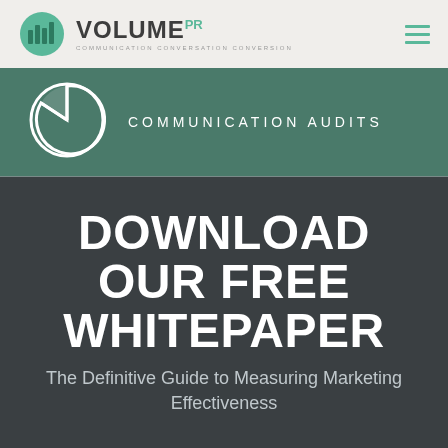VOLUME PR — COMMUNICATION CONVERSATION CONVERSION
[Figure (logo): Volume PR logo with pie chart icon and text VOLUME PR, tagline COMMUNICATION CONVERSATION CONVERSION]
COMMUNICATION AUDITS
DOWNLOAD OUR FREE WHITEPAPER
The Definitive Guide to Measuring Marketing Effectiveness